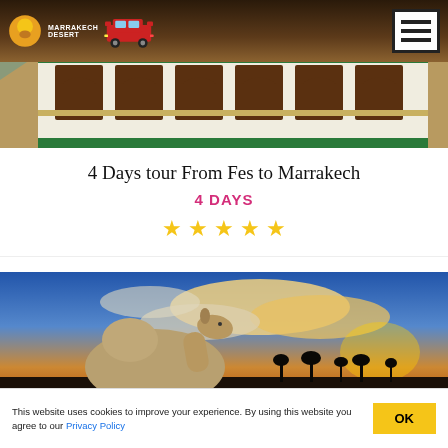Marrakech Desert
[Figure (photo): Moroccan building facade with ornate arched windows and colorful tiles, desert background]
4 Days tour From Fes to Marrakech
4 DAYS
★ ★ ★ ★ ★
[Figure (photo): Camel standing in desert at sunset with dramatic clouds in background]
This website uses cookies to improve your experience. By using this website you agree to our Privacy Policy